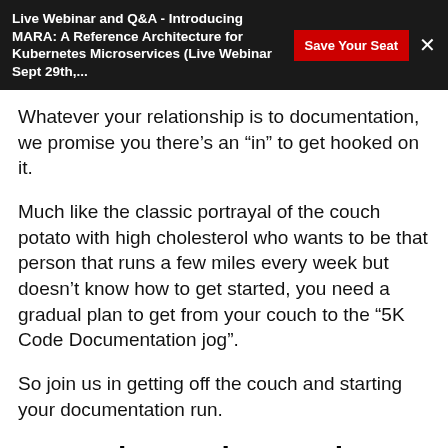Live Webinar and Q&A - Introducing MARA: A Reference Architecture for Kubernetes Microservices (Live Webinar Sept 29th,... | Save Your Seat | ×
Whatever your relationship is to documentation, we promise you there's an “in” to get hooked on it.
Much like the classic portrayal of the couch potato with high cholesterol who wants to be that person that runs a few miles every week but doesn’t know how to get started, you need a gradual plan to get from your couch to the “5K Code Documentation jog”.
So join us in getting off the couch and starting your documentation run.
Scenario 1 –  the couch potato who has few or no docs